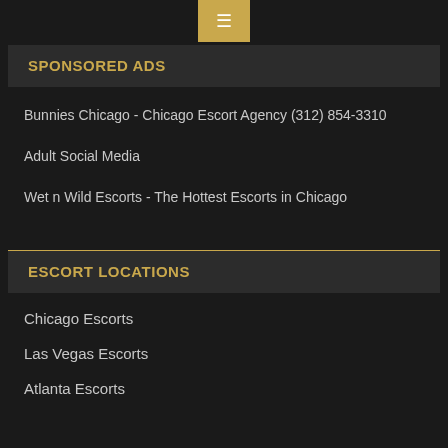☰
SPONSORED ADS
Bunnies Chicago - Chicago Escort Agency (312) 854-3310
Adult Social Media
Wet n Wild Escorts - The Hottest Escorts in Chicago
ESCORT LOCATIONS
Chicago Escorts
Las Vegas Escorts
Atlanta Escorts